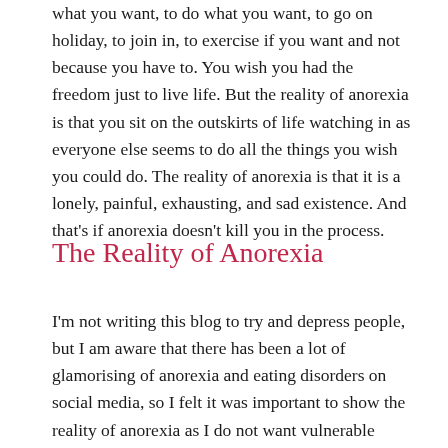what you want, to do what you want, to go on holiday, to join in, to exercise if you want and not because you have to. You wish you had the freedom just to live life. But the reality of anorexia is that you sit on the outskirts of life watching in as everyone else seems to do all the things you wish you could do. The reality of anorexia is that it is a lonely, painful, exhausting, and sad existence. And that's if anorexia doesn't kill you in the process.
The Reality of Anorexia
I'm not writing this blog to try and depress people, but I am aware that there has been a lot of glamorising of anorexia and eating disorders on social media, so I felt it was important to show the reality of anorexia as I do not want vulnerable people to fall into it's clutches. But I also want to say that anyone can recover from an eating disorder. Whatever stage of it that you find yourself at, recovery is always possible. This blog is to show the reality of anorexia at its worst, when